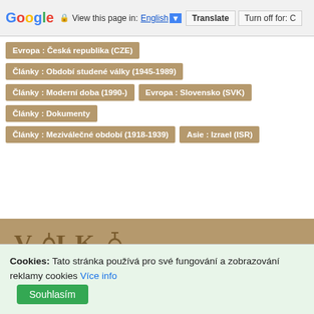Google | View this page in: English [▼] | Translate | Turn off for: C
Evropa : Česká republika (CZE)
Články : Období studené války (1945-1989)
Články : Moderní doba (1990-)
Evropa : Slovensko (SVK)
Články : Dokumenty
Články : Meziválečné období (1918-1939)
Asie : Izrael (ISR)
[Figure (logo): VÁLKA.cz logo in dark olive/brown serif bold font]
© ISSN : 1803-4306 Určeno jen pro osobní použití. Jakákoli další publikace bez předchozího písemného souhlasu autora je zakázána, včetně přetiš­tění nebo distribuce jakéhokoli materiálu nebo části materiálu zveřejněného na stránkách s
Cookies: Tato stránka používá pro své fungování a zobrazování reklamy cookies Více info Souhlasím